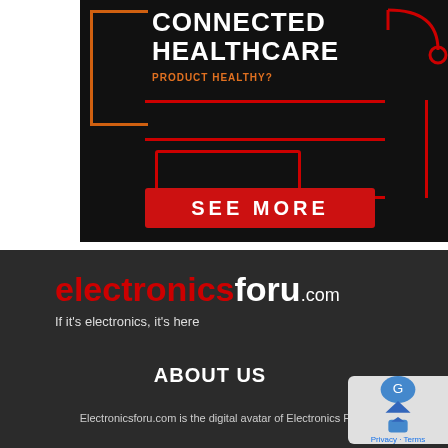[Figure (illustration): Advertisement banner for a connected healthcare product with dark background, orange and red circuit-line design, text reading CONNECTED HEALTHCARE PRODUCT HEALTHY?, and a red SEE MORE button at the bottom.]
[Figure (logo): electronicsforu.com logo in red and white on dark background with tagline 'If it's electronics, it's here']
ABOUT US
Electronicsforu.com is the digital avatar of Electronics For...